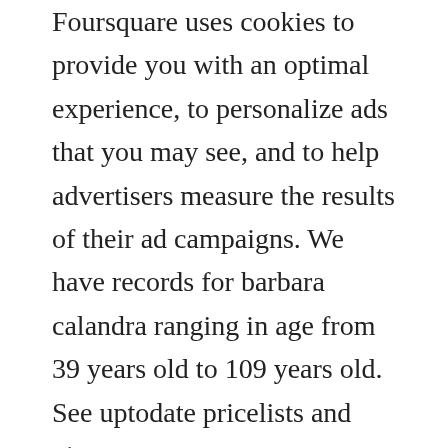Foursquare uses cookies to provide you with an optimal experience, to personalize ads that you may see, and to help advertisers measure the results of their ad campaigns. We have records for barbara calandra ranging in age from 39 years old to 109 years old. See uptodate pricelists and view recent announcements for this location.
We offer a happy hour menu in addition with reduced pricing on most drinks, wines, and beers. Its located at 216234 route 46 east in caldwell, nj 07006. Cucina calandra in fairfield, nj get driving directions to 216 us